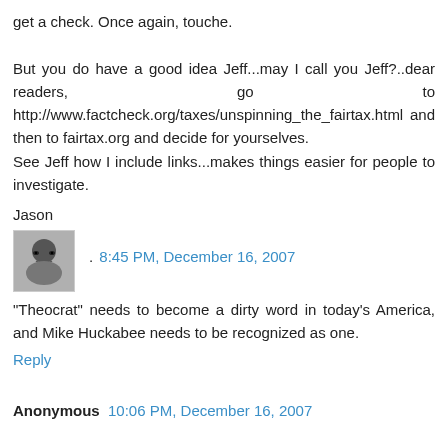get a check. Once again, touche.

But you do have a good idea Jeff...may I call you Jeff?..dear readers, go to http://www.factcheck.org/taxes/unspinning_the_fairtax.html and then to fairtax.org and decide for yourselves.
See Jeff how I include links...makes things easier for people to investigate.

Jason
Reply
. 8:45 PM, December 16, 2007
"Theocrat" needs to become a dirty word in today's America, and Mike Huckabee needs to be recognized as one.
Reply
Anonymous  10:06 PM, December 16, 2007